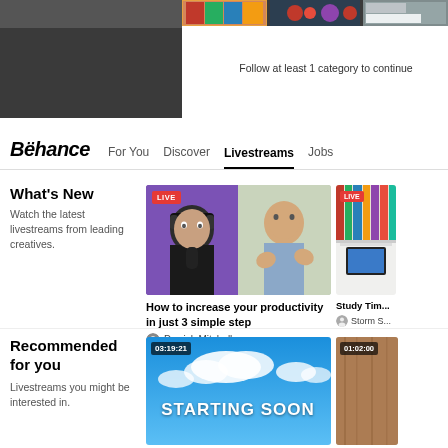[Figure (screenshot): Top portion of a website with dark background and colorful category images, with 'Follow at least 1 category to continue' text]
Follow at least 1 category to continue
Behance  For You  Discover  Livestreams  Jobs
What's New
Watch the latest livestreams from leading creatives.
[Figure (screenshot): LIVE livestream thumbnail showing bald man with headphones on left and man in blue shirt on right]
How to increase your productivity in just 3 simple step
Derrick Mitchell
[Figure (screenshot): Partial LIVE stream thumbnail on right edge]
Study Tim...
Storm S...
Recommended for you
Livestreams you might be interested in.
[Figure (screenshot): Video thumbnail showing blue sky with clouds and STARTING SOON text overlay, time 03:19:21]
[Figure (screenshot): Partial video thumbnail with time 01:02:00]